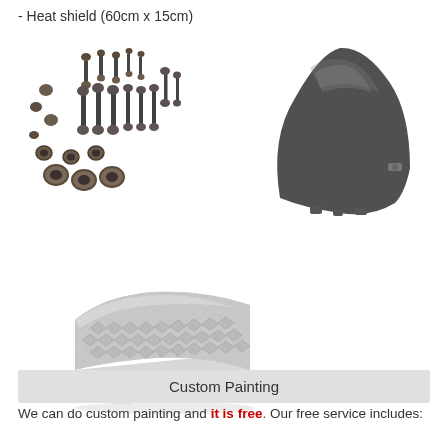- Heat shield (60cm x 15cm)
[Figure (photo): Assorted motorcycle fairing bolts, screws, and grommets laid out on white background]
[Figure (photo): Dark smoke-tinted motorcycle windshield/windscreen]
[Figure (photo): Rolled metallic heat shield material with diamond pattern texture]
Custom Painting
We can do custom painting and it is free. Our free service includes: